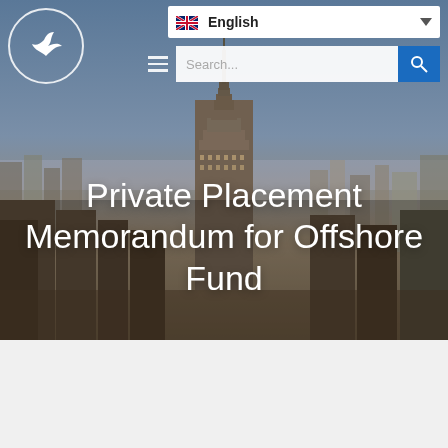[Figure (screenshot): Website header screenshot showing a city skyline background (New York City with Empire State Building), a logo with a bird in a circle (top left), an English language selector dropdown, a hamburger menu and search bar, and a white hero title text 'Private Placement Memorandum for Offshore Fund' overlaid on the cityscape photo.]
Private Placement Memorandum for Offshore Fund